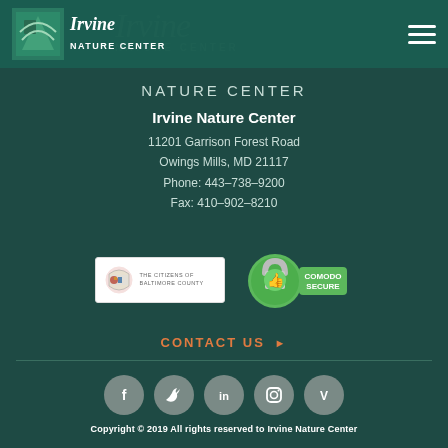Irvine Nature Center
NATURE CENTER
Irvine Nature Center
11201 Garrison Forest Road
Owings Mills, MD 21117
Phone: 443-738-9200
Fax: 410-902-8210
[Figure (logo): The Citizens of Baltimore County logo badge]
[Figure (logo): Comodo Secure badge with green padlock]
CONTACT US
[Figure (infographic): Social media icons: Facebook, Twitter, LinkedIn, Instagram, Vimeo]
Copyright © 2019 All rights reserved to Irvine Nature Center